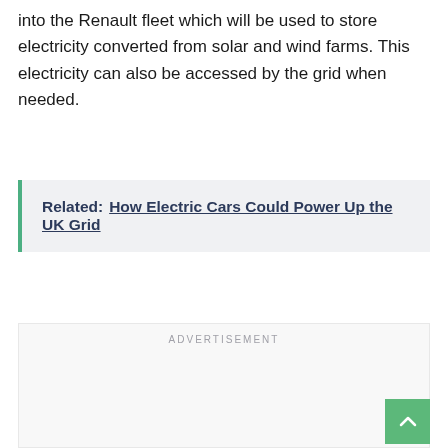into the Renault fleet which will be used to store electricity converted from solar and wind farms. This electricity can also be accessed by the grid when needed.
Related: How Electric Cars Could Power Up the UK Grid
ADVERTISEMENT